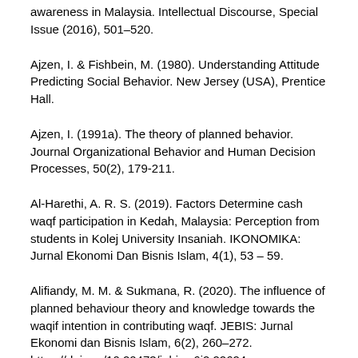awareness in Malaysia. Intellectual Discourse, Special Issue (2016), 501–520.
Ajzen, I. & Fishbein, M. (1980). Understanding Attitude Predicting Social Behavior. New Jersey (USA), Prentice Hall.
Ajzen, I. (1991a). The theory of planned behavior. Journal Organizational Behavior and Human Decision Processes, 50(2), 179-211.
Al-Harethi, A. R. S. (2019). Factors Determine cash waqf participation in Kedah, Malaysia: Perception from students in Kolej University Insaniah. IKONOMIKA: Jurnal Ekonomi Dan Bisnis Islam, 4(1), 53 – 59.
Alifiandy, M. M. & Sukmana, R. (2020). The influence of planned behaviour theory and knowledge towards the waqif intention in contributing waqf. JEBIS: Jurnal Ekonomi dan Bisnis Islam, 6(2), 260–272. https://doi.org/10.20473/jebis.v6i2.22624.
Alpay, S. & Haneef, M. (2015). Integration of Waqf and Islamic Microfinance for Poverty Alleviation: Case Studies of